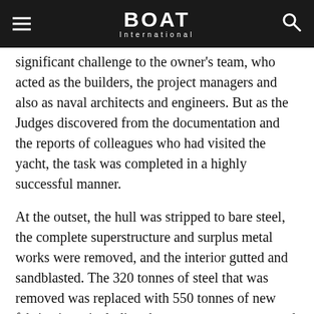BOAT International
significant challenge to the owner's team, who acted as the builders, the project managers and also as naval architects and engineers. But as the Judges discovered from the documentation and the reports of colleagues who had visited the yacht, the task was completed in a highly successful manner.
At the outset, the hull was stripped to bare steel, the complete superstructure and surplus metal works were removed, and the interior gutted and sandblasted. The 320 tonnes of steel that was removed was replaced with 550 tonnes of new fabrications, including the new superstructure and 112 electrically-operated sliding windows each weighing 500kg. New stabilisers and other heavy engine room equipment were installed before the